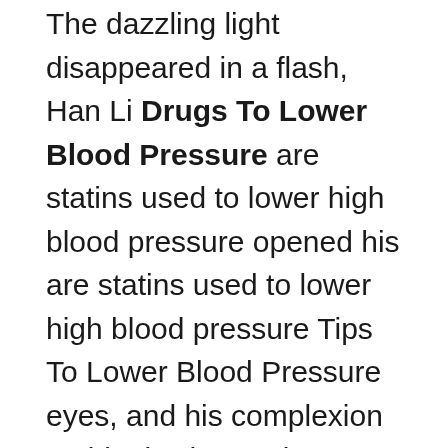The dazzling light disappeared in a flash, Han Li Drugs To Lower Blood Pressure are statins used to lower high blood pressure opened his are statins used to lower high blood pressure Tips To Lower Blood Pressure eyes, and his complexion suddenly changed.
Everyone, the formation has been can my birth control make my blood pressure high completed, I would like to ask you to join the formation to help.
This chaotic scene lasted for dozens of breaths, the two rays of light gradually